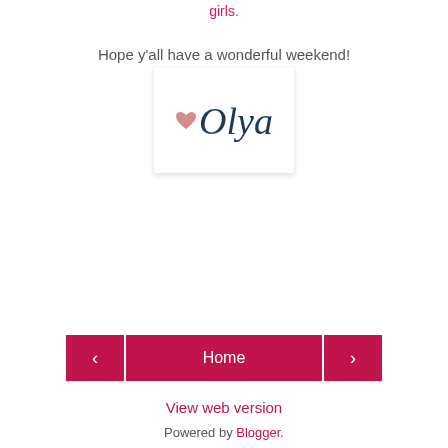girls.
Hope y'all have a wonderful weekend!
[Figure (illustration): Signature box with a pink heart and cursive 'Olya' text in dark navy blue on white background with shadow]
Home (navigation buttons: previous < and next >)
View web version
Powered by Blogger.